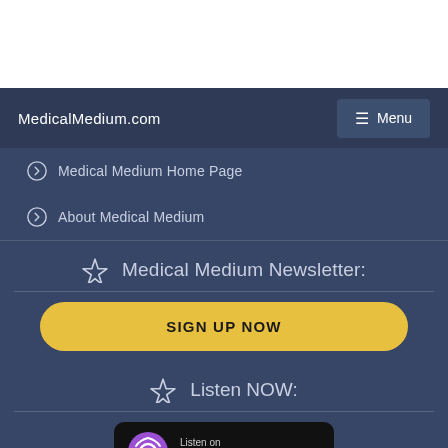MedicalMedium.com  Menu
Medical Medium Home Page
About Medical Medium
Medical Medium Newsletter:
SIGN UP NOW
Listen NOW:
[Figure (logo): Listen on Apple Podcasts badge with purple podcast icon]